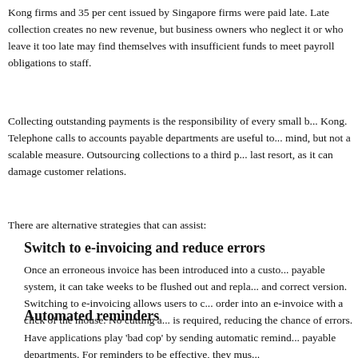Kong firms and 35 per cent issued by Singapore firms were paid late. Late collection creates no new revenue, but business owners who neglect it or who leave it too late may find themselves with insufficient funds to meet payroll obligations to staff.
Collecting outstanding payments is the responsibility of every small business in Hong Kong. Telephone calls to accounts payable departments are useful to keep top of mind, but not a scalable measure. Outsourcing collections to a third party is a last resort, as it can damage customer relations.
There are alternative strategies that can assist:
Switch to e-invoicing and reduce errors
Once an erroneous invoice has been introduced into a customer's accounts payable system, it can take weeks to be flushed out and replaced with the correct and correct version. Switching to e-invoicing allows users to convert a purchase order into an e-invoice with a click of the mouse. No cutting and pasting is required, reducing the chance of errors.
Automated reminders
Have applications play 'bad cop' by sending automatic reminders to accounts payable departments. For reminders to be effective, they must be sent before they will be acted on and to the right person...